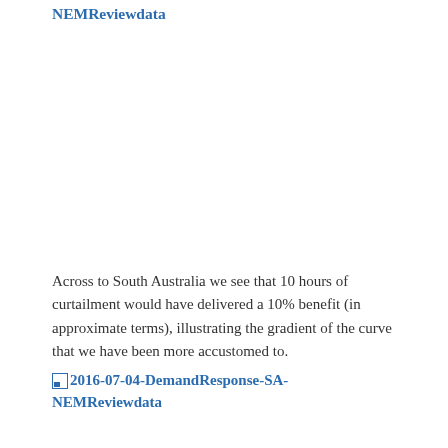NEMReviewdata
Across to South Australia we see that 10 hours of curtailment would have delivered a 10% benefit (in approximate terms), illustrating the gradient of the curve that we have been more accustomed to.
[Figure (other): Image placeholder link: 2016-07-04-DemandResponse-SA-NEMReviewdata]